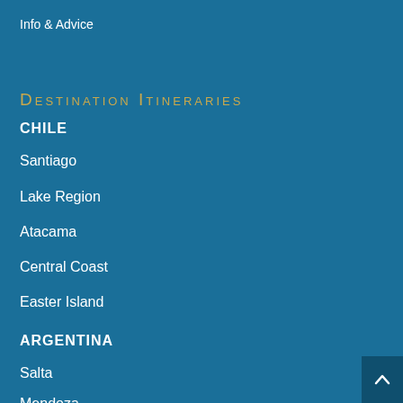Info & Advice
Destination Itineraries
CHILE
Santiago
Lake Region
Atacama
Central Coast
Easter Island
ARGENTINA
Salta
Mendoza
Buenos Aires